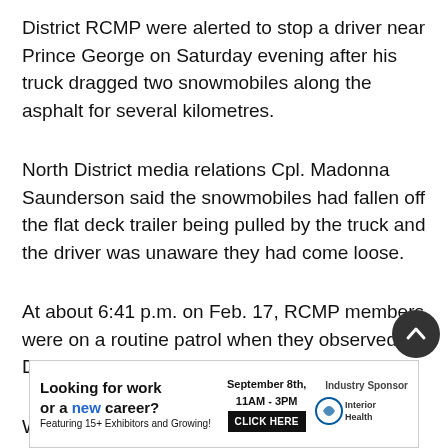District RCMP were alerted to stop a driver near Prince George on Saturday evening after his truck dragged two snowmobiles along the asphalt for several kilometres.
North District media relations Cpl. Madonna Saunderson said the snowmobiles had fallen off the flat deck trailer being pulled by the truck and the driver was unaware they had come loose.
At about 6:41 p.m. on Feb. 17, RCMP members were on a routine patrol when they observed a Dodge Ram pickup driving on Highway 97.
While the driver did not seem to notice the sparks created as the sleds skidded along the asphalt, he dragged the
[Figure (infographic): Advertisement banner: 'Looking for work or a new career? Featuring 15+ Exhibitors and Growing! September 8th, 11AM-3PM CLICK HERE | Industry Sponsor Interior Health']